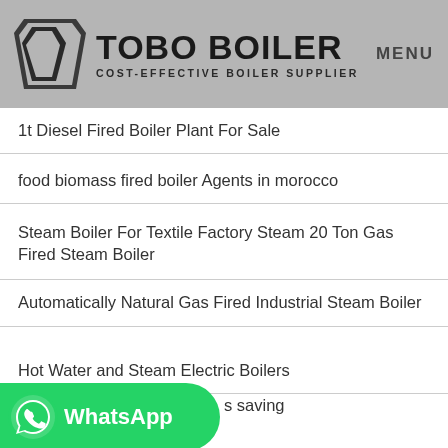TOBO BOILER COST-EFFECTIVE BOILER SUPPLIER MENU
1t Diesel Fired Boiler Plant For Sale
food biomass fired boiler Agents in morocco
Steam Boiler For Textile Factory Steam 20 Ton Gas Fired Steam Boiler
Automatically Natural Gas Fired Industrial Steam Boiler
Hot Water and Steam Electric Boilers
[Figure (logo): WhatsApp promotional banner button with green background]
s saving
What Is Gas Fired Boiler